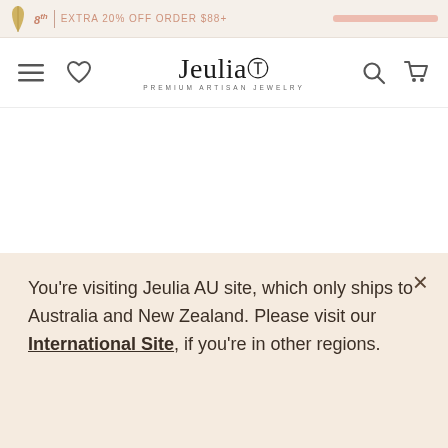8th | [promo text] | [promo banner]
[Figure (screenshot): Jeulia Premium Artisan Jewelry website navigation bar with hamburger menu, heart/wishlist icon, Jeulia logo with tagline PREMIUM ARTISAN JEWELRY, search icon, and cart icon]
[Figure (photo): Silver charm bead with green enamel leaf accents and pavé crystal/CZ stones on top, partially visible at bottom of product area]
You're visiting Jeulia AU site, which only ships to Australia and New Zealand. Please visit our International Site, if you're in other regions.